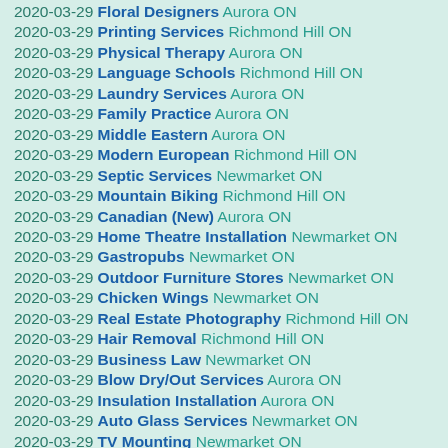2020-03-29 Floral Designers Aurora ON
2020-03-29 Printing Services Richmond Hill ON
2020-03-29 Physical Therapy Aurora ON
2020-03-29 Language Schools Richmond Hill ON
2020-03-29 Laundry Services Aurora ON
2020-03-29 Family Practice Aurora ON
2020-03-29 Middle Eastern Aurora ON
2020-03-29 Modern European Richmond Hill ON
2020-03-29 Septic Services Newmarket ON
2020-03-29 Mountain Biking Richmond Hill ON
2020-03-29 Canadian (New) Aurora ON
2020-03-29 Home Theatre Installation Newmarket ON
2020-03-29 Gastropubs Newmarket ON
2020-03-29 Outdoor Furniture Stores Newmarket ON
2020-03-29 Chicken Wings Newmarket ON
2020-03-29 Real Estate Photography Richmond Hill ON
2020-03-29 Hair Removal Richmond Hill ON
2020-03-29 Business Law Newmarket ON
2020-03-29 Blow Dry/Out Services Aurora ON
2020-03-29 Insulation Installation Aurora ON
2020-03-29 Auto Glass Services Newmarket ON
2020-03-29 TV Mounting Newmarket ON
2020-03-29 Shaved Snow Richmond Hill ON